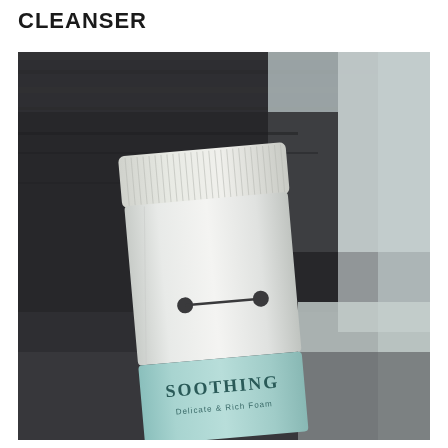CLEANSER
[Figure (photo): A close-up photo of a skincare product tube with a white/light body and a teal/mint lower portion. The tube has a ribbed white cap and features a face-like graphic (two dark dots connected by a horizontal line, resembling a robot face). The teal section has 'SOOTHING' printed in large letters with smaller text reading 'Delicate & Rich Foam' below. The tube rests on a dark wooden surface.]